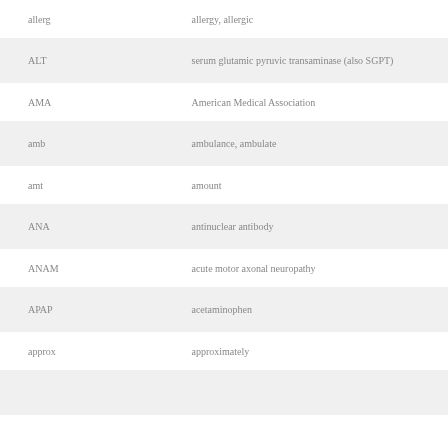| Abbreviation | Definition |
| --- | --- |
| allerg | allergy, allergic |
| ALT | serum glutamic pyruvic transaminase (also SGPT) |
| AMA | American Medical Association |
| amb | ambulance, ambulate |
| amt | amount |
| ANA | antinuclear antibody |
| ANAM | acute motor axonal neuropathy |
| APAP | acetaminophen |
| approx | approximately |